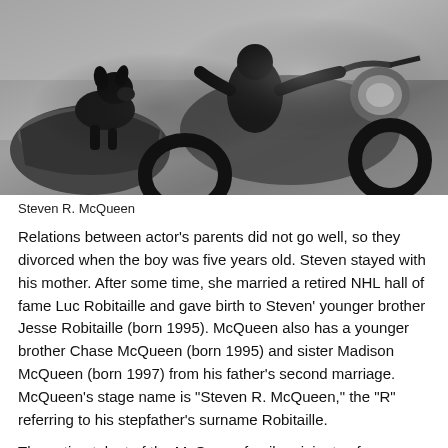[Figure (photo): Black and white photograph of a large dark dog (Great Dane) sitting in a motorcycle sidecar, with a person in leather jacket and the motorcycle visible in the background.]
Steven R. McQueen
Relations between actor's parents did not go well, so they divorced when the boy was five years old. Steven stayed with his mother. After some time, she married a retired NHL hall of fame Luc Robitaille and gave birth to Steven' younger brother Jesse Robitaille (born 1995). McQueen also has a younger brother Chase McQueen (born 1995) and sister Madison McQueen (born 1997) from his father's second marriage. McQueen's stage name is "Steven R. McQueen," the "R" referring to his stepfather's surname Robitaille.
The acting talent of the McQueen family originates from grandfather - Terrence Stephen “Steve” McQueen. In 1974, he became the highest-paid movie star in the world, although he did not act in films again for four years. McQueen was combative with directors and producers, but his popularity placed him in high demand and enabled him to command large